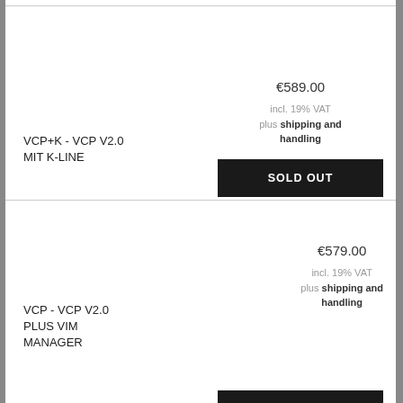VCP+K - VCP V2.0 MIT K-LINE
€589.00
incl. 19% VAT plus shipping and handling
SOLD OUT
VCP - VCP V2.0 PLUS VIM MANAGER
€579.00
incl. 19% VAT plus shipping and handling